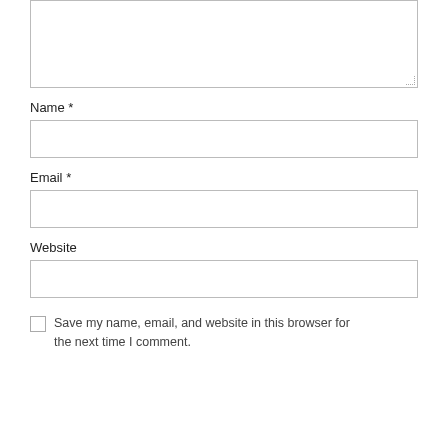[Figure (screenshot): A comment form textarea (top portion cut off), followed by Name, Email, and Website input fields with labels, a checkbox, and a save-info label text.]
Name *
Email *
Website
Save my name, email, and website in this browser for the next time I comment.